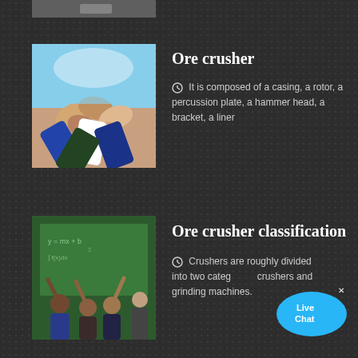[Figure (photo): Partial photo at top, cropped]
[Figure (photo): People joining hands together, team spirit image]
Ore crusher
It is composed of a casing, a rotor, a percussion plate, a hammer head, a bracket, a liner
[Figure (photo): Students raising hands in classroom with chalkboard]
Ore crusher classification
Crushers are roughly divided into two categories, crushers and grinding machines.
[Figure (illustration): Live Chat speech bubble button]
FLICKR PHOTOS
[Figure (photo): Grid of portrait photos - smiling blonde woman, Indian man, brunette woman, man with long hair, and second row of four more portraits]
[Figure (photo): Second row of portrait photos - partially visible]